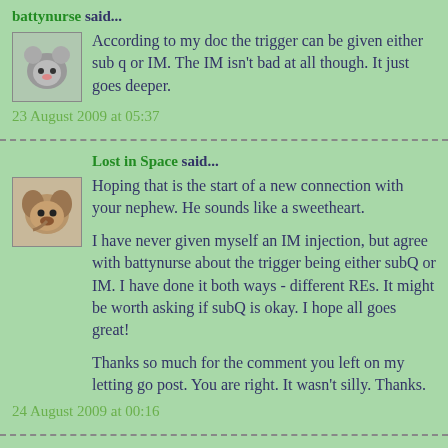battynurse said...
[Figure (photo): Small avatar image of a cartoon mouse/rat character]
According to my doc the trigger can be given either sub q or IM. The IM isn't bad at all though. It just goes deeper.
23 August 2009 at 05:37
Lost in Space said...
[Figure (photo): Small avatar image of a dog/puppy]
Hoping that is the start of a new connection with your nephew. He sounds like a sweetheart.
I have never given myself an IM injection, but agree with battynurse about the trigger being either subQ or IM. I have done it both ways - different REs. It might be worth asking if subQ is okay. I hope all goes great!
Thanks so much for the comment you left on my letting go post. You are right. It wasn't silly. Thanks.
24 August 2009 at 00:16